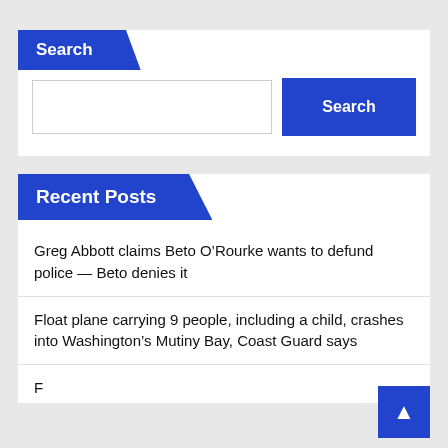Search
Search input and button
Recent Posts
Greg Abbott claims Beto O’Rourke wants to defund police — Beto denies it
Float plane carrying 9 people, including a child, crashes into Washington’s Mutiny Bay, Coast Guard says
(partial, text cut off at bottom)